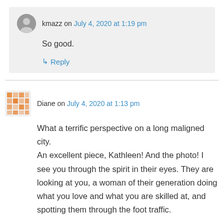kmazz on July 4, 2020 at 1:19 pm
So good.
↳ Reply
Diane on July 4, 2020 at 1:13 pm
What a terrific perspective on a long maligned city.
An excellent piece, Kathleen! And the photo! I see you through the spirit in their eyes. They are looking at you, a woman of their generation doing what you love and what you are skilled at, and spotting them through the foot traffic.